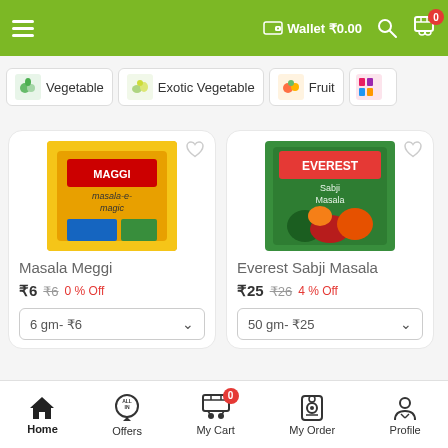Wallet ₹0.00
Vegetable
Exotic Vegetable
Fruit
[Figure (screenshot): Product card: Masala Meggi, ₹6, ₹6 crossed out, 0 % Off, 6 gm- ₹6]
[Figure (screenshot): Product card: Everest Sabji Masala, ₹25, ₹26 crossed out, 4 % Off, 50 gm- ₹25]
Home | Offers | My Cart 0 | My Order | Profile